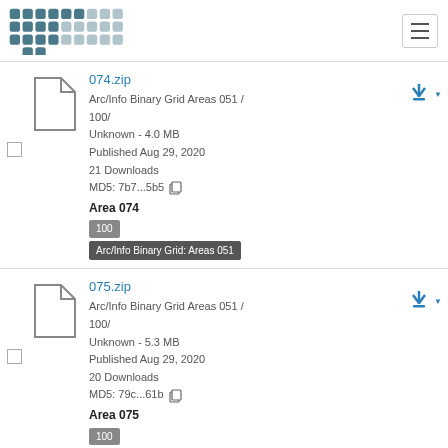Abacus logo and navigation
074.zip
Arc/Info Binary Grid Areas 051 / 100/
Unknown - 4.0 MB
Published Aug 29, 2020
21 Downloads
MD5: 7b7...5b5
Area 074
100
Arc/Info Binary Grid: Areas 051
075.zip
Arc/Info Binary Grid Areas 051 / 100/
Unknown - 5.3 MB
Published Aug 29, 2020
20 Downloads
MD5: 79c...61b
Area 075
100
Arc/Info Binary Grid: Areas 051
076.zip